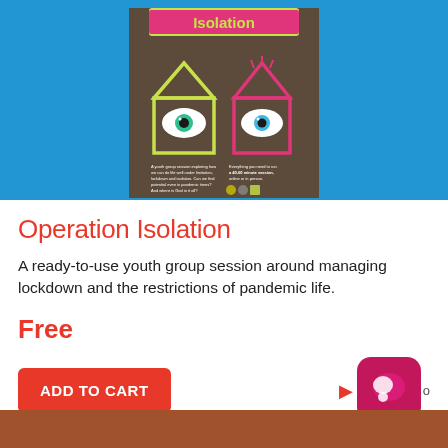[Figure (illustration): Product poster for Operation Isolation showing two illustrated houses with eyes inside, one outlined in yellow-green and one in pink, on a brown background with text about a youth group session. Title 'Isolation' visible in yellow at top. Blue background behind the poster.]
Operation Isolation
A ready-to-use youth group session around managing lockdown and the restrictions of pandemic life.
Free
ADD TO CART
[Figure (logo): Magenta/pink rounded square icon with a chat bubble graphic inside]